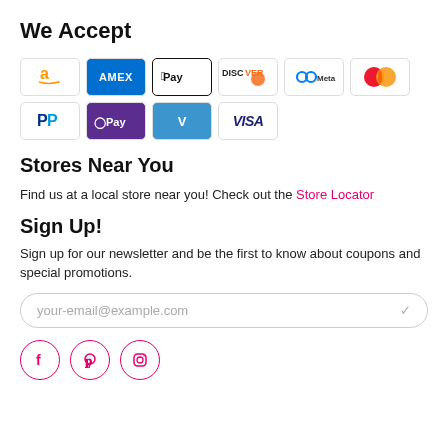We Accept
[Figure (other): Payment method icons: Amazon, AMEX, Apple Pay, Discover, Meta Pay, Mastercard, PayPal, OPay, Venmo, Visa]
Stores Near You
Find us at a local store near you! Check out the Store Locator
Sign Up!
Sign up for our newsletter and be the first to know about coupons and special promotions.
your-email@example.com
[Figure (other): Social media icons: Facebook, Pinterest, Instagram]